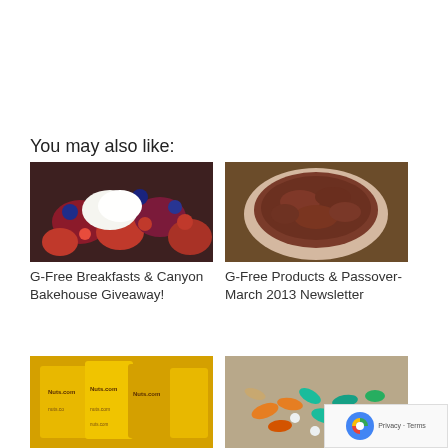You may also like:
[Figure (photo): Close-up photo of mixed berries (raspberries, blueberries, strawberries) with whipped cream]
G-Free Breakfasts & Canyon Bakehouse Giveaway!
[Figure (photo): Close-up photo of brown cocoa or chocolate powder in a bowl]
G-Free Products & Passover-March 2013 Newsletter
[Figure (photo): Photo of Nuts.com branded yellow packages]
[Figure (photo): Photo of various colorful supplement pills and capsules on a surface]